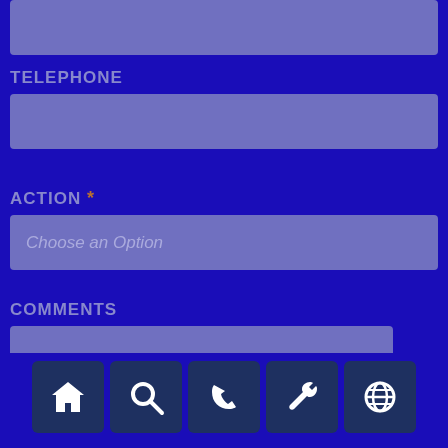[Figure (screenshot): Empty input field (light purple/blue rectangle) at top of form]
TELEPHONE
[Figure (screenshot): Empty telephone input field (light purple/blue rectangle)]
ACTION *
[Figure (screenshot): Dropdown select field showing placeholder 'Choose an Option']
COMMENTS
[Figure (screenshot): Empty comments textarea (light purple/blue rectangle)]
[Figure (infographic): Bottom navigation bar with 5 icons: home, search/magnifying glass, phone/handset, wrench/tool, globe/world]